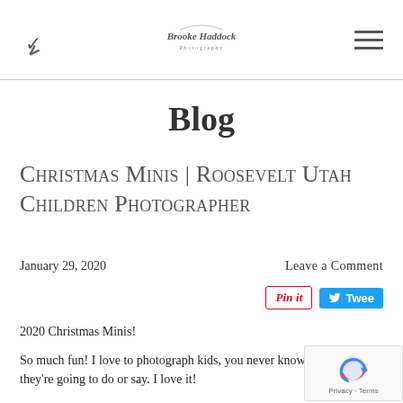Brooke Haddock Photography — navigation header with chevron and hamburger menu
Blog
Christmas Minis | Roosevelt Utah Children Photographer
January 29, 2020
Leave a Comment
2020 Christmas Minis!
So much fun!  I love to photograph kids, you never know what they're going to do or say.  I love it!
I also included the Christmas Composite Photos.  I love them, it's